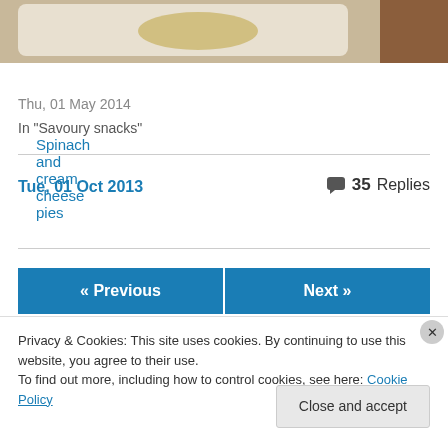[Figure (photo): Photo of spinach and cream cheese pies on a white plate on a wooden surface, partially cropped at top]
Spinach and cream cheese pies
Thu, 01 May 2014
In "Savoury snacks"
Tue, 01 Oct 2013
35 Replies
« Previous
Next »
Privacy & Cookies: This site uses cookies. By continuing to use this website, you agree to their use.
To find out more, including how to control cookies, see here: Cookie Policy
Close and accept